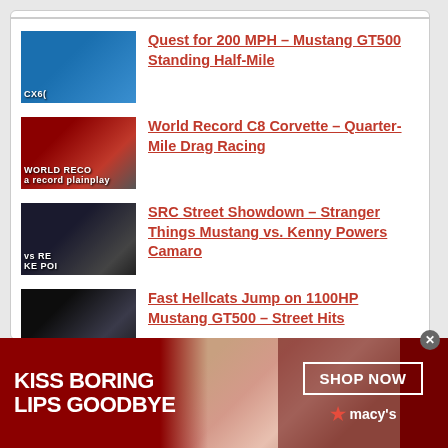DRAGTIMES BLOG
Quest for 200 MPH – Mustang GT500 Standing Half-Mile
World Record C8 Corvette – Quarter-Mile Drag Racing
SRC Street Showdown – Stranger Things Mustang vs. Kenny Powers Camaro
Fast Hellcats Jump on 1100HP Mustang GT500 – Street Hits
[Figure (infographic): Advertisement banner: red background with woman's face, text 'KISS BORING LIPS GOODBYE', 'SHOP NOW' button, and Macy's logo with star]